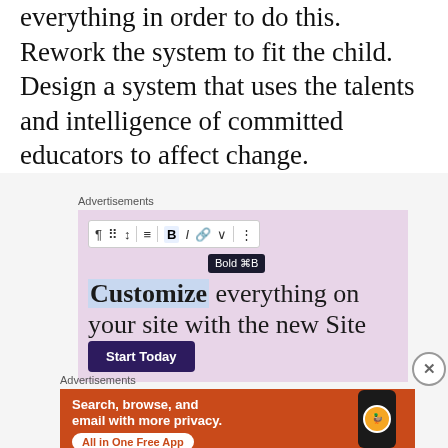everything in order to do this. Rework the system to fit the child. Design a system that uses the talents and intelligence of committed educators to affect change.
[Figure (screenshot): WordPress site editor advertisement with pink/lavender background showing a toolbar with Bold button tooltip, and text 'Customize everything on your site with the new Site Editor.' with a 'Start Today' button]
[Figure (screenshot): DuckDuckGo advertisement on orange-red background with text 'Search, browse, and email with more privacy. All in One Free App' with phone image and DuckDuckGo logo]